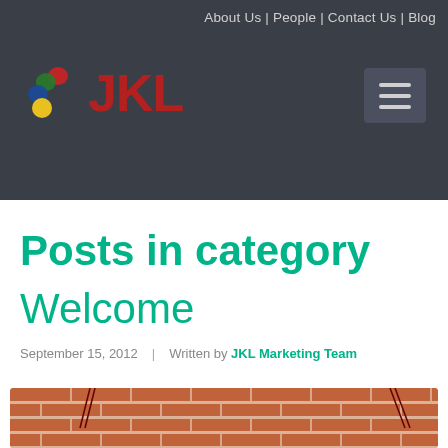About Us | People | Contact Us | Blog
[Figure (logo): JKL company logo with colored dots arc (red, green, blue, yellow) and red JKL text]
Posts in category
Welcome
September 15, 2012  |  Written by JKL Marketing Team
[Figure (photo): Brick wall photo with colorful decorations hanging on it]